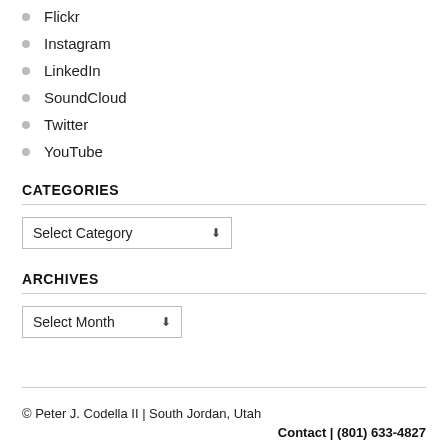Flickr
Instagram
LinkedIn
SoundCloud
Twitter
YouTube
CATEGORIES
Select Category
ARCHIVES
Select Month
© Peter J. Codella II | South Jordan, Utah
Contact | (801) 633-4827